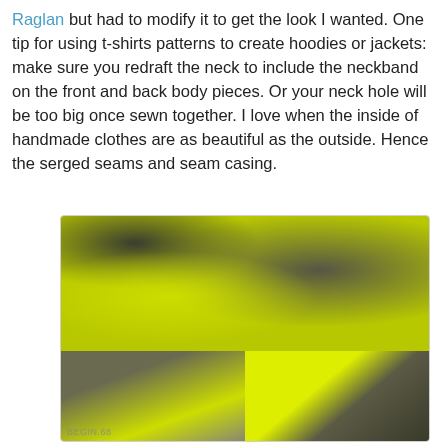Raglan but had to modify it to get the look I wanted. One tip for using t-shirts patterns to create hoodies or jackets: make sure you redraft the neck to include the neckband on the front and back body pieces. Or your neck hole will be too big once sewn together. I love when the inside of handmade clothes are as beautiful as the outside. Hence the serged seams and seam casing.
[Figure (photo): Three photos of a handmade jacket/vest showing quilted gray fabric and neon yellow-green lining. Top photo shows the full front of the garment with green snap buttons and quilted diamond pattern. Bottom-left shows close-up of snap button area. Bottom-right shows the neon green interior lining detail.]